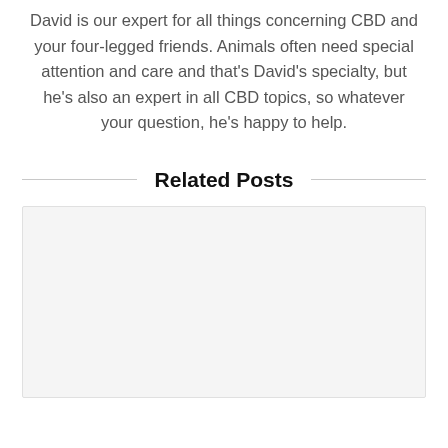David is our expert for all things concerning CBD and your four-legged friends. Animals often need special attention and care and that's David's specialty, but he's also an expert in all CBD topics, so whatever your question, he's happy to help.
Related Posts
[Figure (other): Empty card placeholder area for related post content]